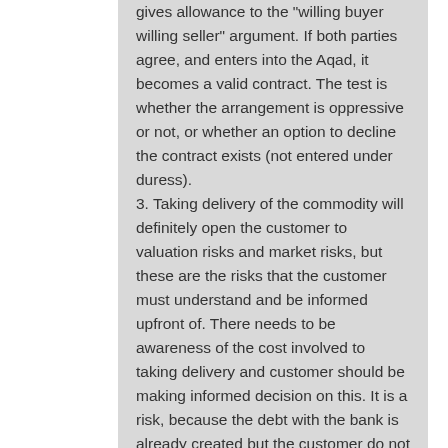gives allowance to the "willing buyer willing seller" argument. If both parties agree, and enters into the Aqad, it becomes a valid contract. The test is whether the arrangement is oppressive or not, or whether an option to decline the contract exists (not entered under duress). 3. Taking delivery of the commodity will definitely open the customer to valuation risks and market risks, but these are the risks that the customer must understand and be informed upfront of. There needs to be awareness of the cost involved to taking delivery and customer should be making informed decision on this. It is a risk, because the debt with the bank is already created but the customer do not have sufficient capital as he has taken physical delivery of the commodity instead. As long as the customer understand and willing to take this risk, there should not be any concerns when all the terms and